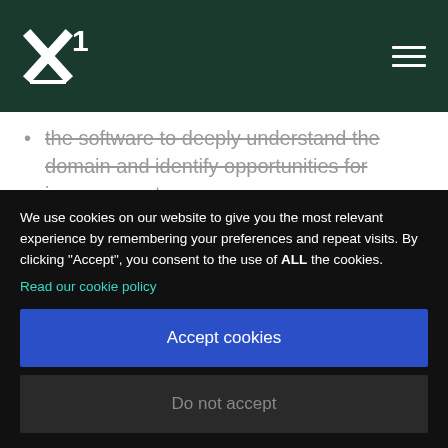x1 logo with navigation hamburger menu
the software to deeply understand the domain and identify opportunities for improvements
Finding practical technological solutions
We use cookies on our website to give you the most relevant experience by remembering your preferences and repeat visits. By clicking "Accept", you consent to the use of ALL the cookies.
Read our cookie policy
Accept cookies
Do not accept